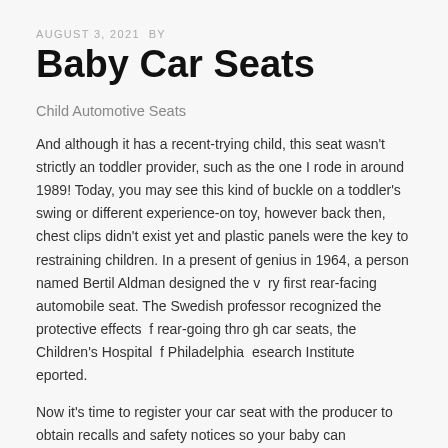AUGUST 3, 2021  BY
Baby Car Seats
Child Automotive Seats
And although it has a recent-trying child, this seat wasn't strictly an toddler provider, such as the one I rode in around 1989! Today, you may see this kind of buckle on a toddler's swing or different experience-on toy, however back then, chest clips didn't exist yet and plastic panels were the key to restraining children. In a present of genius in 1964, a person named Bertil Aldman designed the very first rear-facing automobile seat. The Swedish professor recognized the protective effects of rear-going through car seats, the Children's Hospital of Philadelphia Research Institute reported.
Now it's time to register your car seat with the producer to obtain recalls and safety notices so your baby can